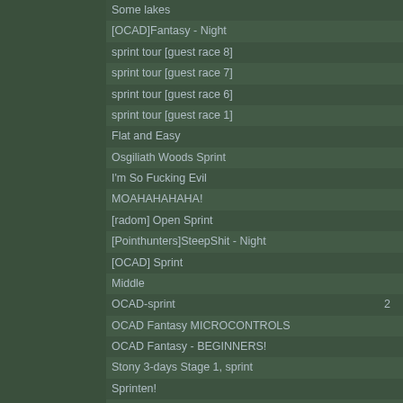Some lakes
[OCAD]Fantasy - Night
sprint tour [guest race 8]
sprint tour [guest race 7]
sprint tour [guest race 6]
sprint tour [guest race 1]
Flat and Easy
Osgiliath Woods Sprint
I'm So Fucking Evil
MOAHAHAHAHA!
[radom] Open Sprint
[Pointhunters]SteepShit - Night
[OCAD] Sprint
Middle
OCAD-sprint  2
OCAD Fantasy MICROCONTROLS
OCAD Fantasy - BEGINNERS!
Stony 3-days Stage 1, sprint
Sprinten!
SPRINT!!!
[OCAD] swiss JWOC quali. middle
Short/Middle
Sprint...
2
Easy night
(random) SPRINT!
OCAD-Sprint
Long distance
[OCAD]Århogen